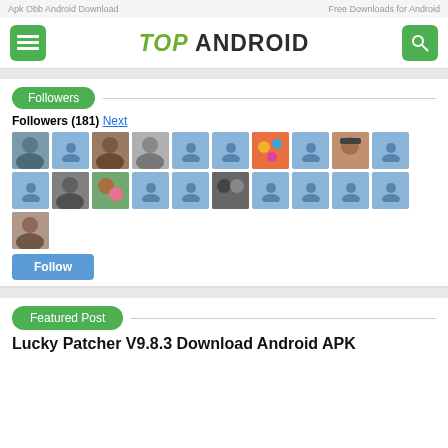Apk Obb Android Download   Free Downloads for Android
TOP ANDROID
Followers
Followers (181) Next
[Figure (other): Grid of 21 follower avatars, mix of profile photos and default blue person icons]
Follow
Featured Post
Lucky Patcher V9.8.3 Download Android APK